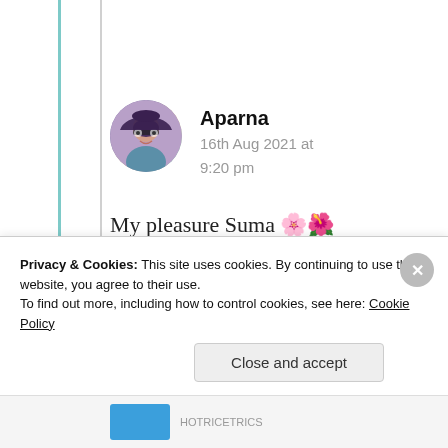[Figure (screenshot): Blog comment from user Aparna dated 16th Aug 2021 at 9:20 pm with avatar photo]
Aparna
16th Aug 2021 at 9:20 pm
My pleasure Suma 🌸🌸 Because you never fails to amaze me from your writing skills💯🌻🌻
Privacy & Cookies: This site uses cookies. By continuing to use this website, you agree to their use.
To find out more, including how to control cookies, see here: Cookie Policy
Close and accept